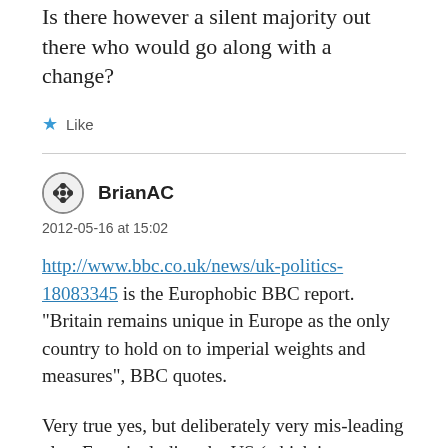Is there however a silent majority out there who would go along with a change?
Like
BrianAC
2012-05-16 at 15:02
http://www.bbc.co.uk/news/uk-politics-18083345 is the Europhobic BBC report. “Britain remains unique in Europe as the only country to hold on to imperial weights and measures”, BBC quotes.
Very true yes, but deliberately very mis-leading also. Even including the US (which is not